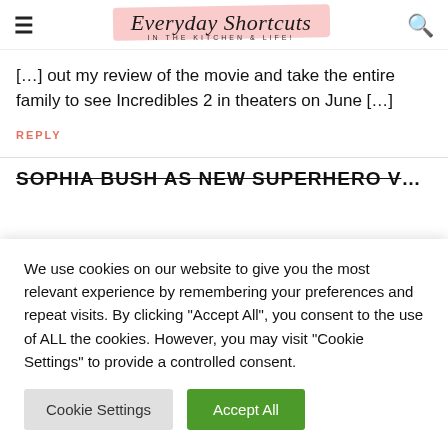Everyday Shortcuts IN THE KITCHEN & LIFE!
[…] out my review of the movie and take the entire family to see Incredibles 2 in theaters on June […]
REPLY
SOPHIA BUSH AS NEW SUPERHERO VOYD IN
We use cookies on our website to give you the most relevant experience by remembering your preferences and repeat visits. By clicking "Accept All", you consent to the use of ALL the cookies. However, you may visit "Cookie Settings" to provide a controlled consent.